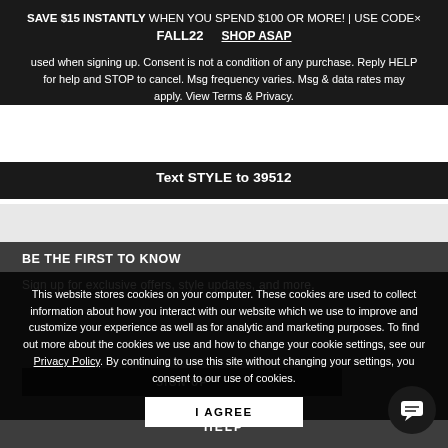SAVE $15 INSTANTLY WHEN YOU SPEND $100 OR MORE! | USE CODE× FALL22  SHOP ASAP
used when signing up. Consent is not a condition of any purchase. Reply HELP for help and STOP to cancel. Msg frequency varies. Msg & data rates may apply. View Terms & Privacy.
Text STYLE to 39512
BE THE FIRST TO KNOW
Sign up for exclusive offers, style updates, and more.
This website stores cookies on your computer. These cookies are used to collect information about how you interact with our website which we use to improve and customize your experience as well as for analytic and marketing purposes. To find out more about the cookies we use and how to change your cookie settings, see our Privacy Policy. By continuing to use this site without changing your settings, you consent to our use of cookies.
I AGREE
SIGN UP
HELP